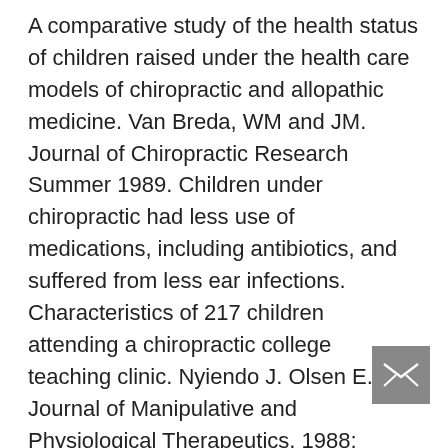A comparative study of the health status of children raised under the health care models of chiropractic and allopathic medicine. Van Breda, WM and JM. Journal of Chiropractic Research Summer 1989. Children under chiropractic had less use of medications, including antibiotics, and suffered from less ear infections. Characteristics of 217 children attending a chiropractic college teaching clinic. Nyiendo J. Olsen E. Journal of Manipulative and Physiological Therapeutics, 1988; 11(2):78084.
The authors found that pediatric patients at Western States Chiropractic College public clinic commonly had complaints of ear-infections at an ble and blunt...